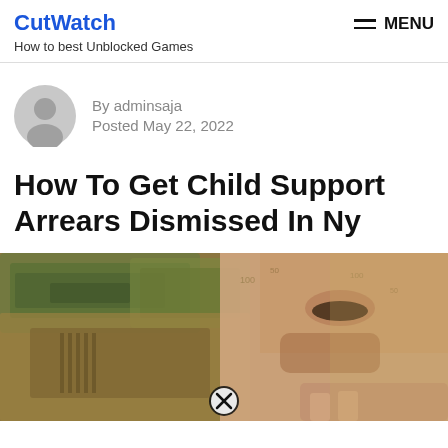CutWatch
How to best Unblocked Games
MENU
By adminsaja
Posted May 22, 2022
How To Get Child Support Arrears Dismissed In Ny
[Figure (photo): Person with face down on scattered US hundred dollar bills, close-up photo with a circular close/X button overlay at the bottom center]